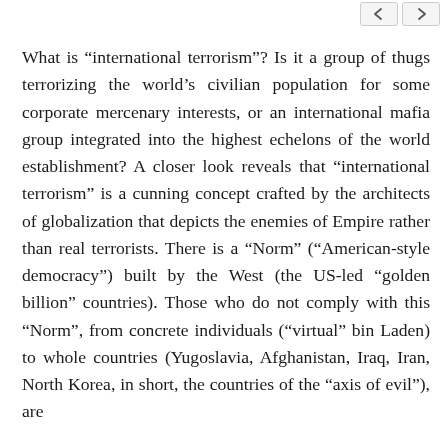What is “international terrorism”? Is it a group of thugs terrorizing the world’s civilian population for some corporate mercenary interests, or an international mafia group integrated into the highest echelons of the world establishment? A closer look reveals that “international terrorism” is a cunning concept crafted by the architects of globalization that depicts the enemies of Empire rather than real terrorists. There is a “Norm” (“American-style democracy”) built by the West (the US-led “golden billion” countries). Those who do not comply with this “Norm”, from concrete individuals (“virtual” bin Laden) to whole countries (Yugoslavia, Afghanistan, Iraq, Iran, North Korea, in short, the countries of the “axis of evil”), are